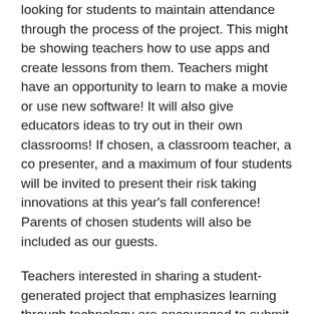looking for students to maintain attendance through the process of the project. This might be showing teachers how to use apps and create lessons from them. Teachers might have an opportunity to learn to make a movie or use new software! It will also give educators ideas to try out in their own classrooms! If chosen, a classroom teacher, a co presenter, and a maximum of four students will be invited to present their risk taking innovations at this year's fall conference! Parents of chosen students will also be included as our guests.
Teachers interested in sharing a student-generated project that emphasizes learning through technology are encouraged to submit a proposal for the CUEkid area. This is an excellent opportunity for teachers to showcase effective integration of technology and the curriculum on student-generated classroom projects. On Wednesday and Thursday conference attendees will have the opportunity to visit your CUEkid presentation (2 hours) to learn about the various projects and talk with students.
Selected CUEkid schools give students the opportunity to demonstrate their work in the areas of Web, video, multimedia,